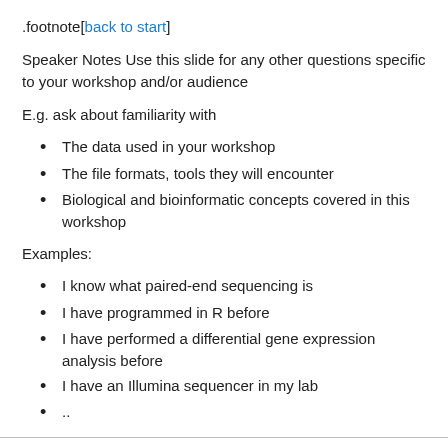.footnote[back to start]
Speaker Notes Use this slide for any other questions specific to your workshop and/or audience
E.g. ask about familiarity with
The data used in your workshop
The file formats, tools they will encounter
Biological and bioinformatic concepts covered in this workshop
Examples:
I know what paired-end sequencing is
I have programmed in R before
I have performed a differential gene expression analysis before
I have an Illumina sequencer in my lab
..